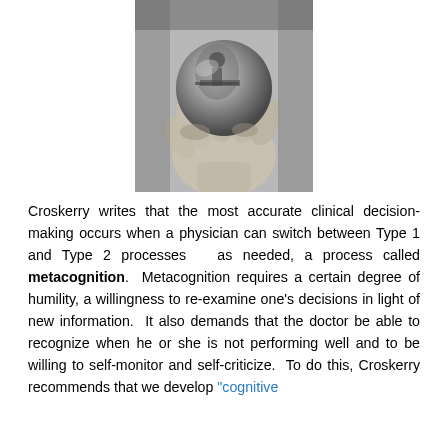[Figure (illustration): Black and white illustration of a hand holding a sphere that reflects a person drawing or working at a table — reminiscent of M.C. Escher's 'Drawing Hands' or self-reflection artwork.]
Croskerry writes that the most accurate clinical decision-making occurs when a physician can switch between Type 1 and Type 2 processes  as needed, a process called metacognition.  Metacognition requires a certain degree of humility, a willingness to re-examine one's decisions in light of new information.  It also demands that the doctor be able to recognize when he or she is not performing well and to be willing to self-monitor and self-criticize.  To do this, Croskerry recommends that we develop "cognitive